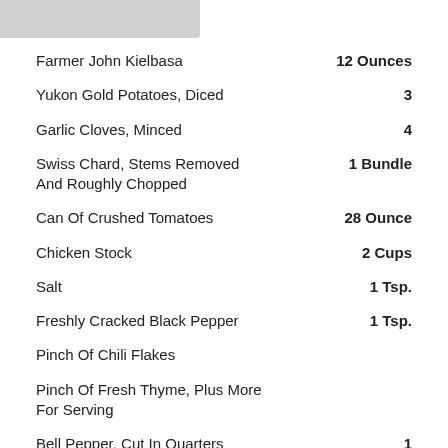[Figure (photo): Partial image of a dish or food item, cropped at top-left corner]
Farmer John Kielbasa — 12 Ounces
Yukon Gold Potatoes, Diced — 3
Garlic Cloves, Minced — 4
Swiss Chard, Stems Removed And Roughly Chopped — 1 Bundle
Can Of Crushed Tomatoes — 28 Ounce
Chicken Stock — 2 Cups
Salt — 1 Tsp.
Freshly Cracked Black Pepper — 1 Tsp.
Pinch Of Chili Flakes
Pinch Of Fresh Thyme, Plus More For Serving
Bell Pepper, Cut In Quarters — 1